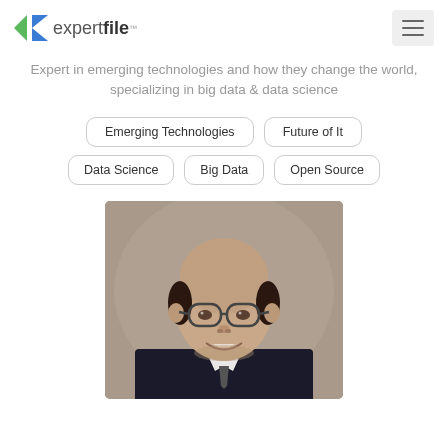expertfile™
Expert in emerging technologies and how they change the world, specializing in big data & data science
Emerging Technologies
Future of It
Data Science
Big Data
Open Source
[Figure (photo): Professional headshot photo of a middle-aged bald man wearing glasses and a dark suit jacket, smiling, against a grey background]